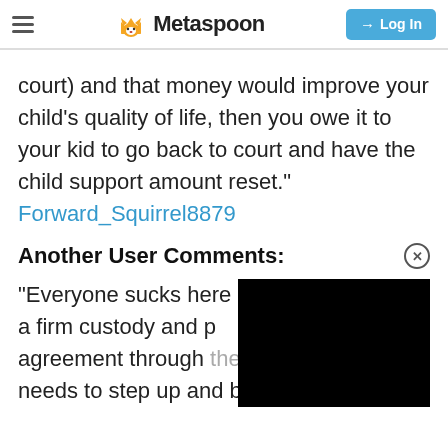Metaspoon — Log In
court) and that money would improve your child’s quality of life, then you owe it to your kid to go back to court and have the child support amount reset.” Forward_Squirrel8879
Another User Comments:
“Everyone sucks here a firm custody and p agreement through the courts and she needs to step up and be a mother.